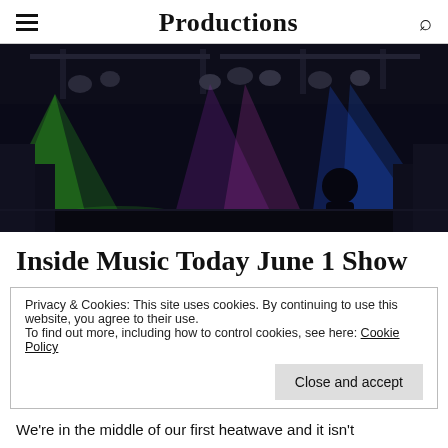Productions
[Figure (photo): Concert stage with colorful lights — green, purple, and blue beams shining on a performer silhouette, with lighting rigs visible overhead in a dark venue.]
Inside Music Today June 1 Show
Privacy & Cookies: This site uses cookies. By continuing to use this website, you agree to their use.
To find out more, including how to control cookies, see here: Cookie Policy
Close and accept
We're in the middle of our first heatwave and it isn't